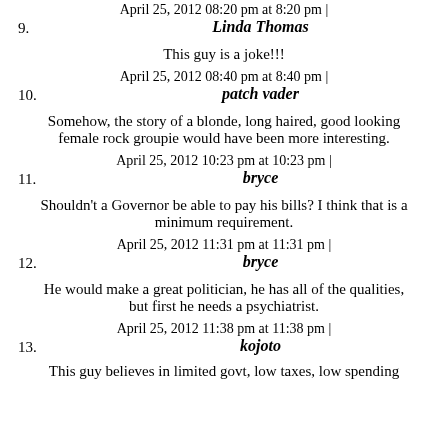April 25, 2012 08:20 pm at 8:20 pm |
9. Linda Thomas
This guy is a joke!!!
April 25, 2012 08:40 pm at 8:40 pm |
10. patch vader
Somehow, the story of a blonde, long haired, good looking female rock groupie would have been more interesting.
April 25, 2012 10:23 pm at 10:23 pm |
11. bryce
Shouldn't a Governor be able to pay his bills? I think that is a minimum requirement.
April 25, 2012 11:31 pm at 11:31 pm |
12. bryce
He would make a great politician, he has all of the qualities, but first he needs a psychiatrist.
April 25, 2012 11:38 pm at 11:38 pm |
13. kojoto
This guy believes in limited govt, low taxes, low spending